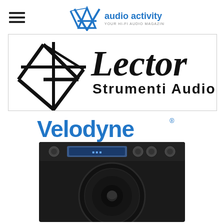[Figure (logo): Audio Activity magazine logo with stylized 'A' mark and text 'audio activity' in blue/black]
[Figure (logo): Lector Strumenti Audio hi-fi logo with geometric star/asterisk symbol and italic Lector text]
[Figure (logo): Velodyne logo in blue with registered trademark, above photo of a Velodyne subwoofer speaker]